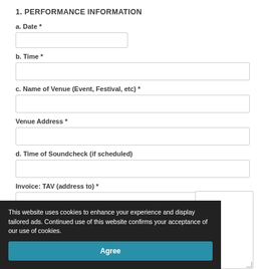1. PERFORMANCE INFORMATION
a. Date *
b. Time *
c. Name of Venue (Event, Festival, etc) *
Venue Address *
d. Time of Soundcheck (if scheduled)
Invoice: TAV (address to) *
This website uses cookies to enhance your experience and display tailored ads. Continued use of this website confirms your acceptance of our use of cookies.
Agree